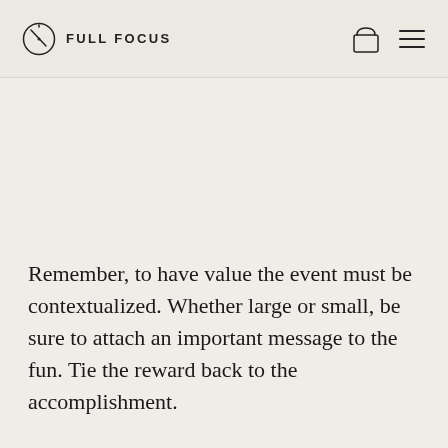FULL FOCUS
Remember, to have value the event must be contextualized. Whether large or small, be sure to attach an important message to the fun. Tie the reward back to the accomplishment.